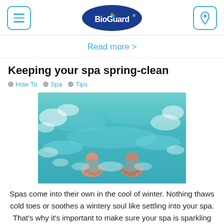BioGuard - navigation header with menu and location icons
Read more >
Keeping your spa spring-clean
How To  Spa  Tips
[Figure (photo): Overhead view of a person's feet in a bubbling turquoise spa/hot tub]
Spas come into their own in the cool of winter. Nothing thaws cold toes or soothes a wintery soul like settling into your spa. That’s why it’s important to make sure your spa is sparkling clean and all set to go when you’re ready to use